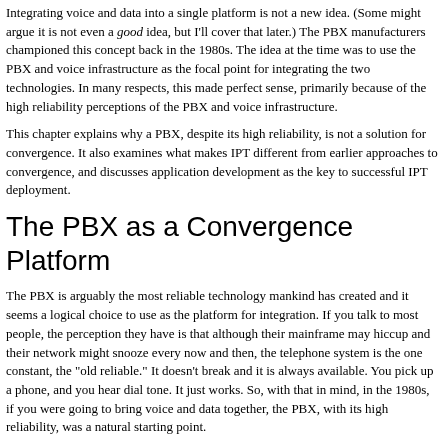Integrating voice and data into a single platform is not a new idea. (Some might argue it is not even a good idea, but I'll cover that later.) The PBX manufacturers championed this concept back in the 1980s. The idea at the time was to use the PBX and voice infrastructure as the focal point for integrating the two technologies. In many respects, this made perfect sense, primarily because of the high reliability perceptions of the PBX and voice infrastructure.
This chapter explains why a PBX, despite its high reliability, is not a solution for convergence. It also examines what makes IPT different from earlier approaches to convergence, and discusses application development as the key to successful IPT deployment.
The PBX as a Convergence Platform
The PBX is arguably the most reliable technology mankind has created and it seems a logical choice to use as the platform for integration. If you talk to most people, the perception they have is that although their mainframe may hiccup and their network might snooze every now and then, the telephone system is the one constant, the "old reliable." It doesn't break and it is always available. You pick up a phone, and you hear dial tone. It just works. So, with that in mind, in the 1980s, if you were going to bring voice and data together, the PBX, with its high reliability, was a natural starting point.
Figure 1-1 offers an accurate view of voice and data integration as it was implemented in 1986. For those users who chose this solution, a single drop of wiring to the desktop was sufficient to handle both voice and data sessions. Many manufacturers offered the capability to connect voice and data desktop devices to the PBX, and of course, Integrated Services Digital Network (IS